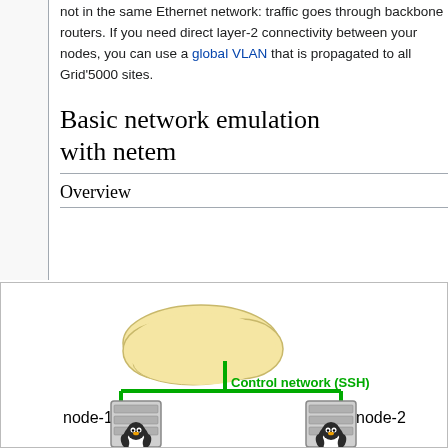not in the same Ethernet network: traffic goes through backbone routers. If you need direct layer-2 connectivity between your nodes, you can use a global VLAN that is propagated to all Grid'5000 sites.
Basic network emulation with netem
Overview
[Figure (network-graph): Network diagram showing a cloud (control network) connecting via SSH to two Linux servers labeled node-1 and node-2, connected by green lines representing the Control network (SSH).]